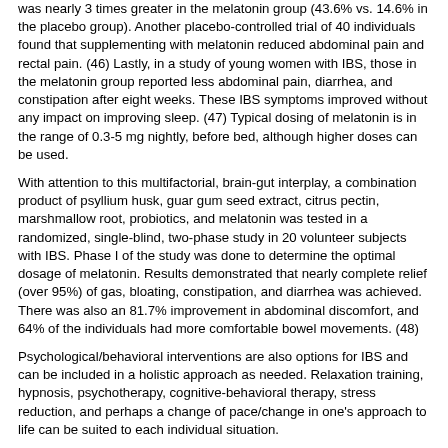was nearly 3 times greater in the melatonin group (43.6% vs. 14.6% in the placebo group). Another placebo-controlled trial of 40 individuals found that supplementing with melatonin reduced abdominal pain and rectal pain. (46) Lastly, in a study of young women with IBS, those in the melatonin group reported less abdominal pain, diarrhea, and constipation after eight weeks. These IBS symptoms improved without any impact on improving sleep. (47) Typical dosing of melatonin is in the range of 0.3-5 mg nightly, before bed, although higher doses can be used.
With attention to this multifactorial, brain-gut interplay, a combination product of psyllium husk, guar gum seed extract, citrus pectin, marshmallow root, probiotics, and melatonin was tested in a randomized, single-blind, two-phase study in 20 volunteer subjects with IBS. Phase I of the study was done to determine the optimal dosage of melatonin. Results demonstrated that nearly complete relief (over 95%) of gas, bloating, constipation, and diarrhea was achieved. There was also an 81.7% improvement in abdominal discomfort, and 64% of the individuals had more comfortable bowel movements. (48)
Psychological/behavioral interventions are also options for IBS and can be included in a holistic approach as needed. Relaxation training, hypnosis, psychotherapy, cognitive-behavioral therapy, stress reduction, and perhaps a change of pace/change in one's approach to life can be suited to each individual situation.
Conclusion
IBS is one of the most frequently diagnosed problems. It is especially common in women, and is often confused with gynecologic disorders. Although a single cause of IBS is not identified, it is generally agreed that the microbiota plays a major role in its development and persistence.